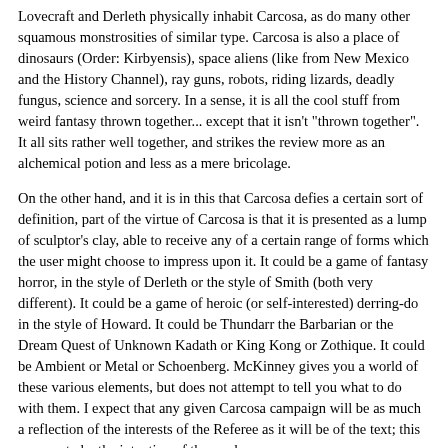Lovecraft and Derleth physically inhabit Carcosa, as do many other squamous monstrosities of similar type. Carcosa is also a place of dinosaurs (Order: Kirbyensis), space aliens (like from New Mexico and the History Channel), ray guns, robots, riding lizards, deadly fungus, science and sorcery. In a sense, it is all the cool stuff from weird fantasy thrown together... except that it isn't "thrown together". It all sits rather well together, and strikes the review more as an alchemical potion and less as a mere bricolage.
On the other hand, and it is in this that Carcosa defies a certain sort of definition, part of the virtue of Carcosa is that it is presented as a lump of sculptor's clay, able to receive any of a certain range of forms which the user might choose to impress upon it. It could be a game of fantasy horror, in the style of Derleth or the style of Smith (both very different). It could be a game of heroic (or self-interested) derring-do in the style of Howard. It could be Thundarr the Barbarian or the Dream Quest of Unknown Kadath or King Kong or Zothique. It could be Ambient or Metal or Schoenberg. McKinney gives you a world of these various elements, but does not attempt to tell you what to do with them. I expect that any given Carcosa campaign will be as much a reflection of the interests of the Referee as it will be of the text; this appears to be the intention of the work.
The first piece of content is a poem from Robert W. Chambers, the originator of the concept of lost Carcosa. We then have the Table of Contents.
The rest of the book follows the general division of the original three digest books: the first part is about characters and spells, the second part about monsters and artifacts, and the third part is about adventures above and